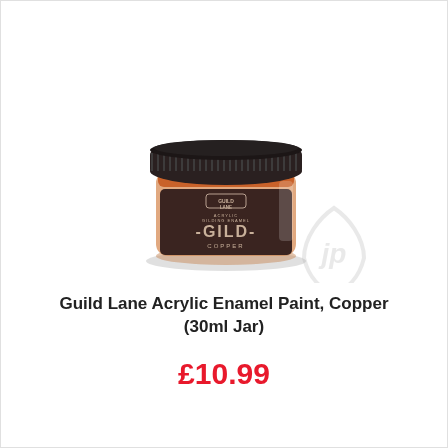[Figure (photo): A small glass jar of Guild Lane Acrylic Gilding Enamel paint in Copper color. The jar has a black metal lid and a dark brown label reading 'GUILD LANE ACRYLIC GILDING ENAMEL -GILD- COPPER'. The copper-colored paint is visible around the top rim of the jar. A faint watermark logo (stylized 'JP') appears in the lower right area.]
Guild Lane Acrylic Enamel Paint, Copper (30ml Jar)
£10.99